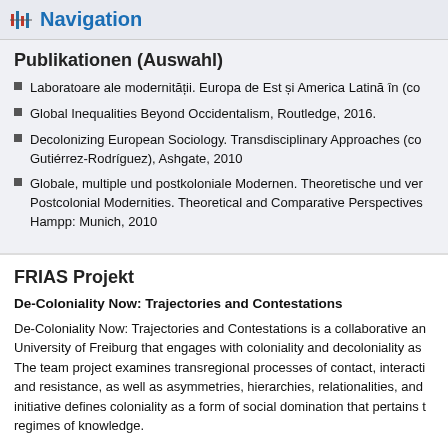Navigation
Publikationen (Auswahl)
Laboratoare ale modernității. Europa de Est și America Latină în (co
Global Inequalities Beyond Occidentalism, Routledge, 2016.
Decolonizing European Sociology. Transdisciplinary Approaches (co Gutiérrez-Rodríguez), Ashgate, 2010
Globale, multiple und postkoloniale Modernen. Theoretische und ver Postcolonial Modernities. Theoretical and Comparative Perspectives Hampp: Munich, 2010
FRIAS Projekt
De-Coloniality Now: Trajectories and Contestations
De-Coloniality Now: Trajectories and Contestations is a collaborative an University of Freiburg that engages with coloniality and decoloniality as The team project examines transregional processes of contact, interacti and resistance, as well as asymmetries, hierarchies, relationalities, and initiative defines coloniality as a form of social domination that pertains t regimes of knowledge.
While coloniality, as a phenomenon that started with the European colo continues to characterize global asymmetries and epistemologies today resistances, appropriations, and the emergence of new hegemonies. Th discourses that convey it will be focal points of interest. Our global, tran consideration different geopolitical contexts and emerging contemporan